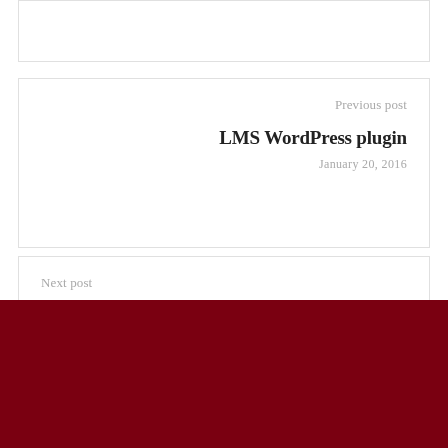Previous post
LMS WordPress plugin
January 20, 2016
Next post
Online Learning Glossary
January 20, 2016